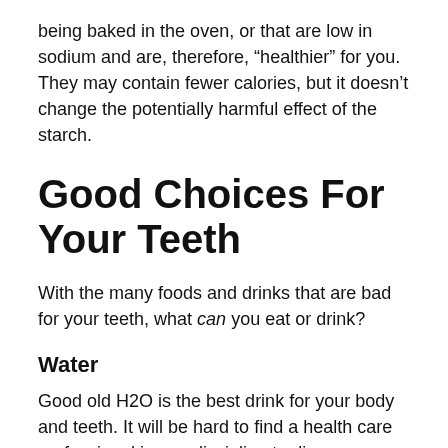being baked in the oven, or that are low in sodium and are, therefore, “healthier” for you. They may contain fewer calories, but it doesn’t change the potentially harmful effect of the starch.
Good Choices For Your Teeth
With the many foods and drinks that are bad for your teeth, what can you eat or drink?
Water
Good old H2O is the best drink for your body and teeth. It will be hard to find a health care professional in any discipline to disagree